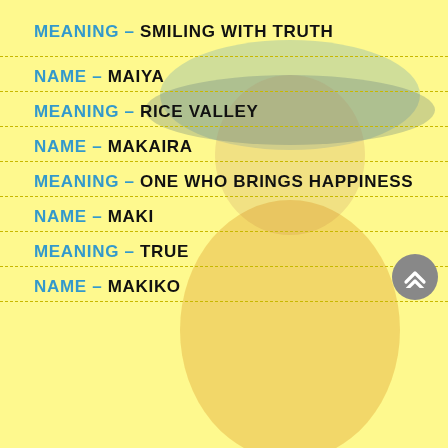[Figure (photo): Background photo of a young child wearing a wide-brimmed hat and orange shirt, sitting and smiling, with a yellow overlay tint.]
MEANING – SMILING WITH TRUTH
NAME – MAIYA
MEANING – RICE VALLEY
NAME – MAKAIRA
MEANING – ONE WHO BRINGS HAPPINESS
NAME – MAKI
MEANING – TRUE
NAME – MAKIKO